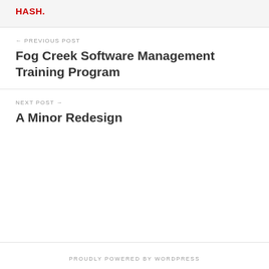HASH.
← PREVIOUS POST
Fog Creek Software Management Training Program
NEXT POST →
A Minor Redesign
PROUDLY POWERED BY WORDPRESS